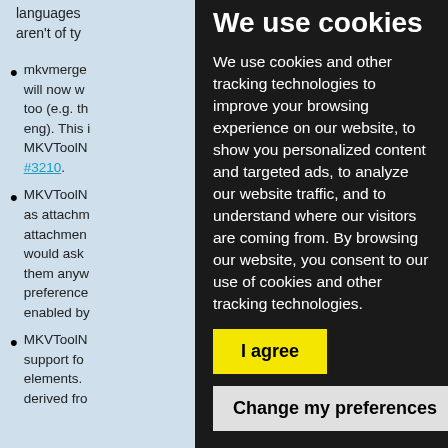languages aren't of ty
mkvmerge will now w too (e.g. th eng). This i MKVToolN #3210.
MKVToolN as attachm attachmen would ask them anyw preference enabled by
MKVToolN support fo elements. derived fro
We use cookies
We use cookies and other tracking technologies to improve your browsing experience on our website, to show you personalized content and targeted ads, to analyze our website traffic, and to understand where our visitors are coming from. By browsing our website, you consent to our use of cookies and other tracking technologies.
I agree
Change my preferences